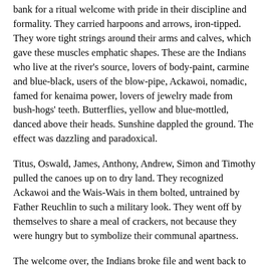bank for a ritual welcome with pride in their discipline and formality.  They carried harpoons and arrows, iron-tipped.  They wore tight strings around their arms and calves, which gave these muscles emphatic shapes.  These are the Indians who live at the river's source, lovers of body-paint, carmine and blue-black, users of the blow-pipe, Ackawoi, nomadic, famed for kenaima power, lovers of jewelry made from bush-hogs' teeth.  Butterflies, yellow and blue-mottled, danced above their heads.  Sunshine dappled the ground.  The effect was dazzling and paradoxical.
Titus, Oswald, James, Anthony, Andrew, Simon and Timothy pulled the canoes up on to dry land.  They recognized Ackawoi and the Wais-Wais in them bolted, untrained by Father Reuchlin to such a military look.  They went off by themselves to share a meal of crackers, not because they were hungry but to symbolize their communal apartness.
The welcome over, the Indians broke file and went back to their preparations for the Easter holiday.  Stephen and Peter missed the charm of curiosity which other tribes had shown in them, the pawing, the communal chatter.  The Mission of the True Cross was busy, organized, and unsentimental.  The first task was to deal with Stephen's foot.  By now it was swollen twice the size of the other.  Father Aigan had him carried in a stretcher to the infirmary which struck Stephen as excessive, considering the fact that he had